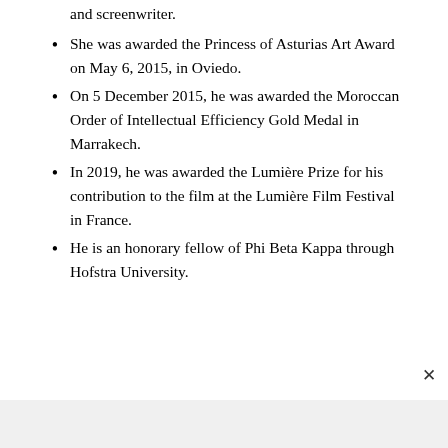and screenwriter.
She was awarded the Princess of Asturias Art Award on May 6, 2015, in Oviedo.
On 5 December 2015, he was awarded the Moroccan Order of Intellectual Efficiency Gold Medal in Marrakech.
In 2019, he was awarded the Lumière Prize for his contribution to the film at the Lumière Film Festival in France.
He is an honorary fellow of Phi Beta Kappa through Hofstra University.